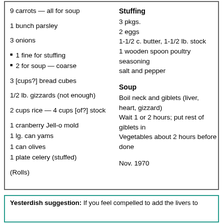9 carrots — all for soup
1 bunch parsley
3 onions
1 fine for stuffing
2 for soup — coarse
3 [cups?] bread cubes
1/2 lb. gizzards (not enough)
2 cups rice — 4 cups [of?] stock
1 cranberry Jell-o mold
1 lg. can yams
1 can olives
1 plate celery (stuffed)
(Rolls)
Stuffing
3 pkgs.
2 eggs
1-1/2 c. butter, 1-1/2 lb. stock
1 wooden spoon poultry seasoning
salt and pepper
Soup
Boil neck and giblets (liver, heart, gizzard)
Wait 1 or 2 hours; put rest of giblets in
Vegetables about 2 hours before done
Nov. 1970
Yesterdish suggestion: If you feel compelled to add the livers to